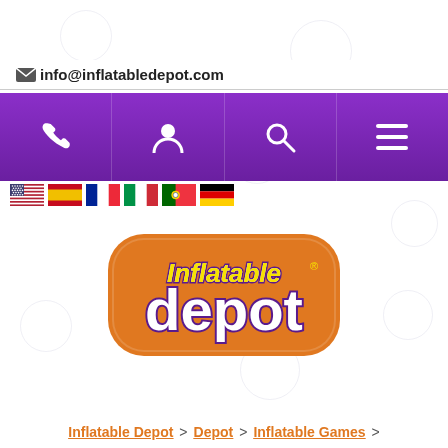info@inflatabledepot.com
[Figure (screenshot): Purple navigation bar with phone, user, search, and hamburger menu icons]
[Figure (infographic): Row of country flag icons: USA, Spain, France, Italy, Portugal, Germany]
[Figure (logo): Inflatable Depot logo — orange rounded rectangle with white and yellow text reading 'Inflatable depot' with registered trademark symbol]
Inflatable Depot > Depot > Inflatable Games >